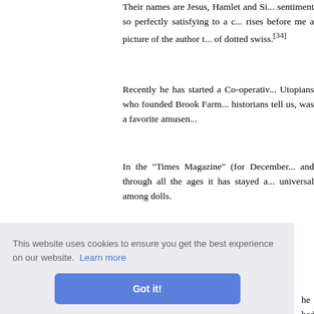Their names are Jesus, Hamlet and Sh... sentiment so perfectly satisfying to a c... rises before me a picture of the author t... of dotted swiss.[34]
Recently he has started a Co-operativ... Utopians who founded Brook Farm... historians tell us, was a favorite amusen...
In the "Times Magazine" (for December... and through all the ages it has stayed a... universal among dolls.
I find myself the prey of a growing su... s House.' ... he had ... eft the D... n strange... the only... does not stumble over dolls' furniture. h...
This website uses cookies to ensure you get the best experience on our website. Learn more
Got it!